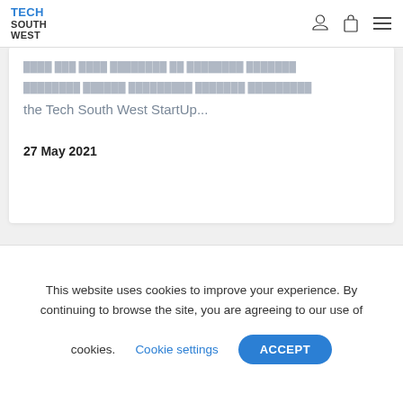TECH SOUTH WEST
the Tech South West StartUp...
27 May 2021
[Figure (photo): People leaning over a table working together, with a laptop open on the right side. A workplace collaboration scene with sticky notes visible.]
This website uses cookies to improve your experience. By continuing to browse the site, you are agreeing to our use of cookies.
Cookie settings
ACCEPT